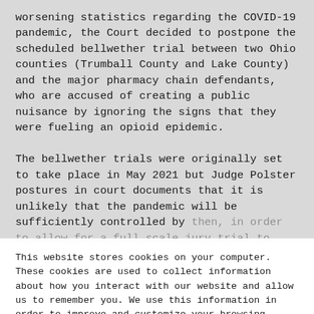worsening statistics regarding the COVID-19 pandemic, the Court decided to postpone the scheduled bellwether trial between two Ohio counties (Trumball County and Lake County) and the major pharmacy chain defendants, who are accused of creating a public nuisance by ignoring the signs that they were fueling an opioid epidemic.
The bellwether trials were originally set to take place in May 2021 but Judge Polster postures in court documents that it is unlikely that the pandemic will be sufficiently controlled by then, in order to allow for a full scale jury trial to take place.
This website stores cookies on your computer. These cookies are used to collect information about how you interact with our website and allow us to remember you. We use this information in order to improve and customize your browsing experience and for analytics and metrics about our visitors both on this website and other media. To find out more about the cookies we use, see our Privacy Policy.